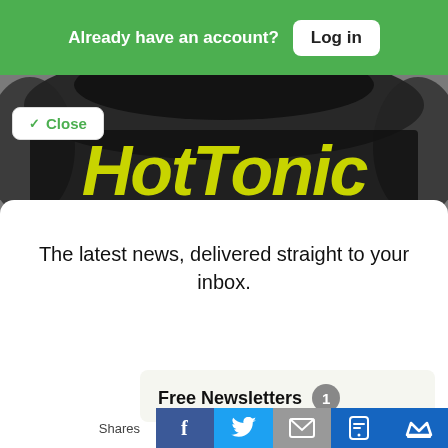Already have an account? Log in
[Figure (logo): HotTonic website logo with yellow/green stylized text on black background with flame/smoke design]
Close
The latest news, delivered straight to your inbox.
Free Newsletters 1
Shares